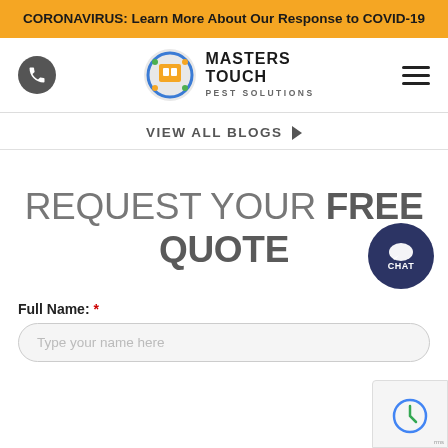CORONAVIRUS: Learn More About Our Response to COVID-19
[Figure (logo): Masters Touch Pest Solutions logo with phone icon and hamburger menu]
VIEW ALL BLOGS ▶
REQUEST YOUR FREE QUOTE
Full Name: *
Type your name here